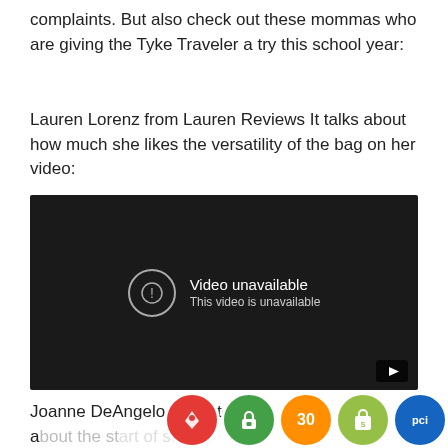complaints. But also check out these mommas who are giving the Tyke Traveler a try this school year:
Lauren Lorenz from Lauren Reviews It talks about how much she likes the versatility of the bag on her video:
[Figure (screenshot): Embedded video player showing 'Video unavailable / This video is unavailable' message on dark background with YouTube play button in bottom right corner]
Joanne DeAngelo is excited about the start of school